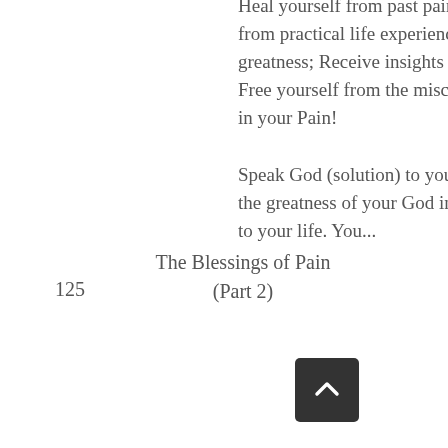125
The Blessings of Pain (Part 2)
Heal yourself from past pains, failures so as to rise into your magnificence; Learn from practical life experiences about how others used their pains to rise into greatness; Receive insights into the benefits of pains or obstacles to life as a whole; Free yourself from the misconceptions about pains in life; Manifest your greatness in your Pain!

Speak God (solution) to your challenges; Use evidences and testimonies to reveal the greatness of your God in every problem in your life; Know the power of words to your life. You...